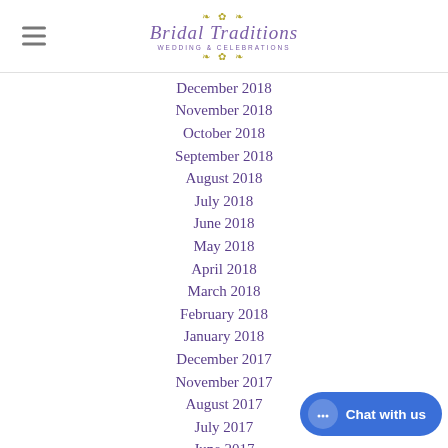Bridal Traditions - Wedding & Celebrations
December 2018
November 2018
October 2018
September 2018
August 2018
July 2018
June 2018
May 2018
April 2018
March 2018
February 2018
January 2018
December 2017
November 2017
August 2017
July 2017
June 2017
April 2017